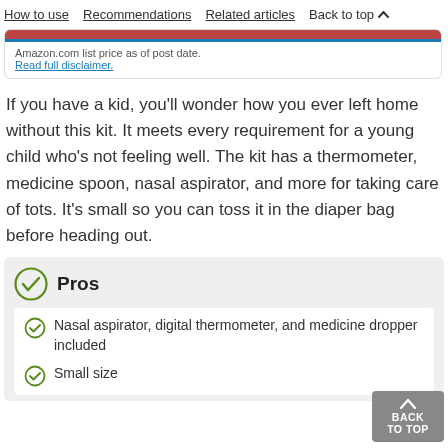How to use  Recommendations  Related articles  Back to top
Amazon.com list price as of post date.
Read full disclaimer.
If you have a kid, you'll wonder how you ever left home without this kit. It meets every requirement for a young child who's not feeling well. The kit has a thermometer, medicine spoon, nasal aspirator, and more for taking care of tots. It's small so you can toss it in the diaper bag before heading out.
Pros
Nasal aspirator, digital thermometer, and medicine dropper included
Small size